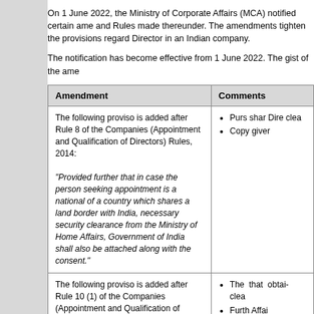On 1 June 2022, the Ministry of Corporate Affairs (MCA) notified certain amendments and Rules made thereunder. The amendments tighten the provisions regarding Director in an Indian company.
The notification has become effective from 1 June 2022. The gist of the amendments
| Amendment | Comments |
| --- | --- |
| The following proviso is added after Rule 8 of the Companies (Appointment and Qualification of Directors) Rules, 2014:

"Provided further that in case the person seeking appointment is a national of a country which shares a land border with India, necessary security clearance from the Ministry of Home Affairs, Government of India shall also be attached along with the consent." | • Purs share Direc clearance
• Copy given |
| The following proviso is added after Rule 10 (1) of the Companies (Appointment and Qualification of Directors) Rules, 2014:

"Provided that no application number shall be generated in case of the person applying for Director Identification Number is a national of a country which shares a land border with India, unless necessary security clearance from the Ministry of Home Affairs, Government of India has been attached along with an application for Director Identification Number." | • The amendment that s obtain clearance
• Further Affairs |
| Inserting additional declaration in Form DIR-2 (consent to | • The |